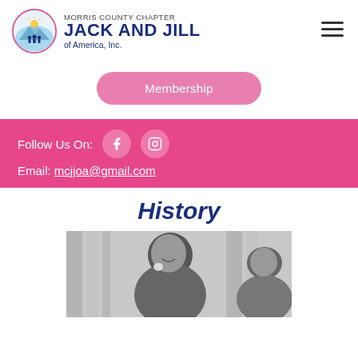Morris County Chapter Jack and Jill of America, Inc.
Membership
Follow Us On:  Email: mcjjoa@gmail.com
History
[Figure (photo): Black and white photo of a smiling woman with a flower in her hair, with another person partially visible on the right side]